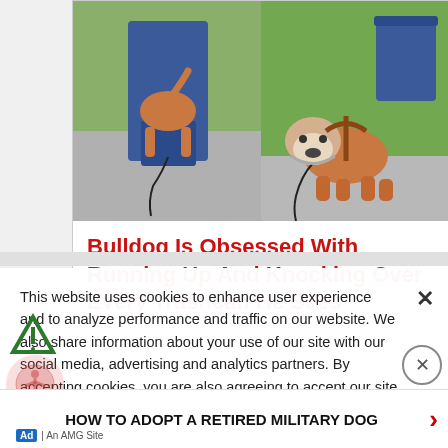[Figure (photo): Two-panel image: left panel shows a brown dog (rear view) going through a blue flap door, right panel shows a brown and white bulldog wearing a harness standing on a sidewalk near a blue container]
Bulldog Is Obsessed With Running Up And Knocking Over Every Trashcan He Sees
This website uses cookies to enhance user experience and to analyze performance and traffic on our website. We also share information about your use of our site with our social media, advertising and analytics partners. By accepting cookies, you are also agreeing to accept our site terms and conditions. Terms & Conditions
[Figure (logo): Freespoke logo icon - triangular arrow shape]
[Figure (logo): Accessibility icon - person with arms outstretched in circle]
HOW TO ADOPT A RETIRED MILITARY DOG
Ad | An AMG Site